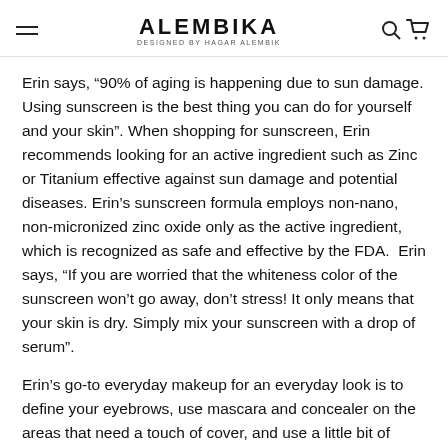ALEMBIKA DESIGNED BY HAGAR ALEMBIK
Erin says, “90% of aging is happening due to sun damage. Using sunscreen is the best thing you can do for yourself and your skin”. When shopping for sunscreen, Erin recommends looking for an active ingredient such as Zinc or Titanium effective against sun damage and potential diseases. Erin’s sunscreen formula employs non-nano, non-micronized zinc oxide only as the active ingredient, which is recognized as safe and effective by the FDA. Erin says, “If you are worried that the whiteness color of the sunscreen won’t go away, don’t stress! It only means that your skin is dry. Simply mix your sunscreen with a drop of serum”.
Erin’s go-to everyday makeup for an everyday look is to define your eyebrows, use mascara and concealer on the areas that need a touch of cover, and use a little bit of blush...